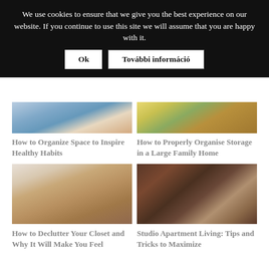We use cookies to ensure that we give you the best experience on our website. If you continue to use this site we will assume that you are happy with it.   Ok   További információ
[Figure (photo): Person sitting on floor organizing clothing items in boxes]
How to Organize Space to Inspire Healthy Habits
[Figure (photo): Colorful room with wooden floor and children's furniture including a bike and chairs]
How to Properly Organise Storage in a Large Family Home
[Figure (photo): Clothing rack with white and dark garments hanging on hangers]
How to Declutter Your Closet and Why It Will Make You Feel
[Figure (photo): Studio apartment interior with bookshelves on brick wall and red couch]
Studio Apartment Living: Tips and Tricks to Maximize